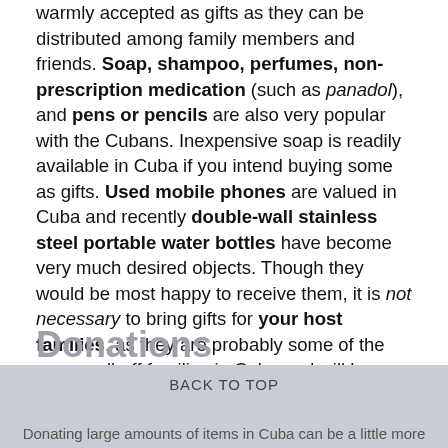warmly accepted as gifts as they can be distributed among family members and friends. Soap, shampoo, perfumes, non-prescription medication (such as panadol), and pens or pencils are also very popular with the Cubans. Inexpensive soap is readily available in Cuba if you intend buying some as gifts. Used mobile phones are valued in Cuba and recently double-wall stainless steel portable water bottles have become very much desired objects. Though they would be most happy to receive them, it is not necessary to bring gifts for your host families, as they are probably some of the more well-off families in Cuba and will be happy enough with just your good-natured presence. If you want to take gifts for your host families perhaps something that they can use around the house or in the kitchen would be a well received and inexpensive gift - such as keyrings, place mats for the table, towels, etc.
Donations
Donating large amounts of items in Cuba can be a little more